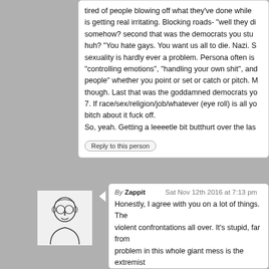tired of people blowing off what they've done while is getting real irritating. Blocking roads- "well they di somehow? second that was the democrats you stu huh? "You hate gays. You want us all to die. Nazi. S sexuality is hardly ever a problem. Persona often is "controlling emotions", "handling your own shit", an people" whether you point or set or catch or pitch. M though. Last that was the goddamned democrats yo 7. If race/sex/religion/job/whatever (eye roll) is all yo bitch about it fuck off.
So, yeah. Getting a leeeetle bit butthurt over the las
Reply to this person
By Zappit   Sat Nov 12th 2016 at 7:13 pm
Honestly, I agree with you on a lot of things. The violent confrontations all over. It's stupid, far from problem in this whole giant mess is the extremist these confrontations. It's like there's not even a m to be loud and right. It's the rest of us that suffer